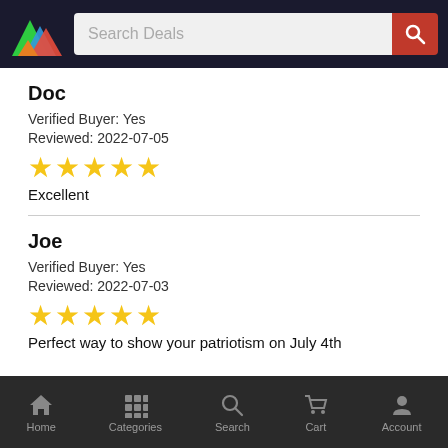Search Deals
Doc
Verified Buyer: Yes
Reviewed: 2022-07-05
[Figure (other): 5 yellow stars rating]
Excellent
Joe
Verified Buyer: Yes
Reviewed: 2022-07-03
[Figure (other): 5 yellow stars rating]
Perfect way to show your patriotism on July 4th
Home  Categories  Search  Cart  Account